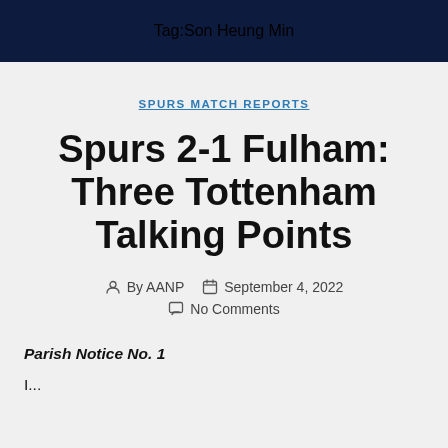Tag: Son Heung Min
SPURS MATCH REPORTS
Spurs 2-1 Fulham: Three Tottenham Talking Points
By AANP  September 4, 2022  No Comments
Parish Notice No. 1
I...